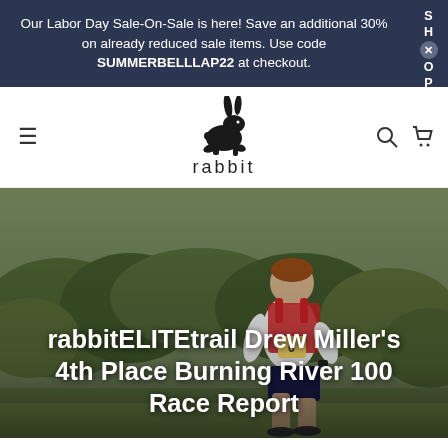Our Labor Day Sale-On-Sale is here! Save an additional 30% on already reduced sale items. Use code SUMMERBELLLAP22 at checkout.
[Figure (logo): Rabbit brand logo: black silhouette of a running rabbit above the word 'rabbit' in lowercase]
[Figure (photo): A male trail runner in a white shirt and red hydration vest wearing bib number 6 (Drew), running on a grassy trail with green bushes in the background]
rabbitELITEtrail Drew Miller's 4th Place Burning River 100 Race Report